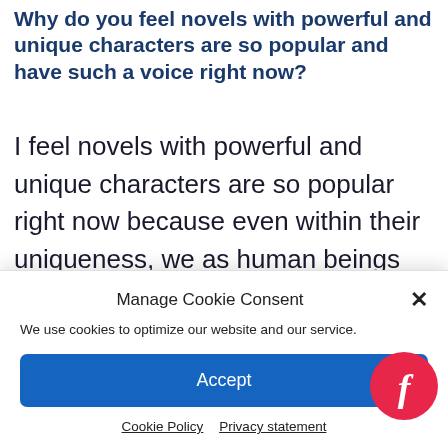Why do you feel novels with powerful and unique characters are so popular and have such a voice right now?
I feel novels with powerful and unique characters are so popular right now because even within their uniqueness, we as human beings are able to see parts of ourselves in those characters. We are drawn to things that seem different, and when we get up close on
Manage Cookie Consent
We use cookies to optimize our website and our service.
Accept
Cookie Policy   Privacy statement